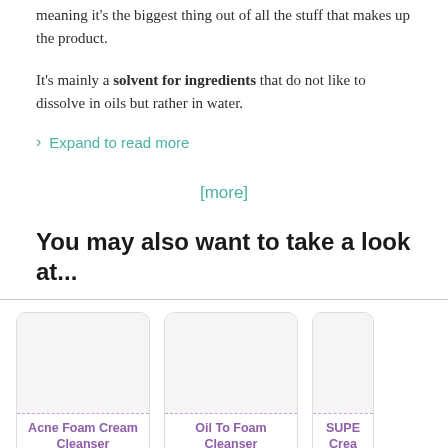meaning it's the biggest thing out of all the stuff that makes up the product.
It's mainly a solvent for ingredients that do not like to dissolve in oils but rather in water.
Expand to read more
[more]
You may also want to take a look at...
[Figure (other): Product card: Acne Foam Cream Cleanser]
[Figure (other): Product card: Oil To Foam Cleanser]
[Figure (other): Product card: SUPE Crea (partially visible)]